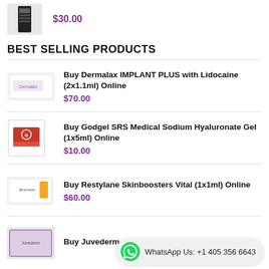$30.00
BEST SELLING PRODUCTS
Buy Dermalax IMPLANT PLUS with Lidocaine (2x1.1ml) Online — $70.00
Buy Godgel SRS Medical Sodium Hyaluronate Gel (1x5ml) Online — $10.00
Buy Restylane Skinboosters Vital (1x1ml) Online — $60.00
Buy Juvederm Online
WhatsApp Us: +1 405 356 6643